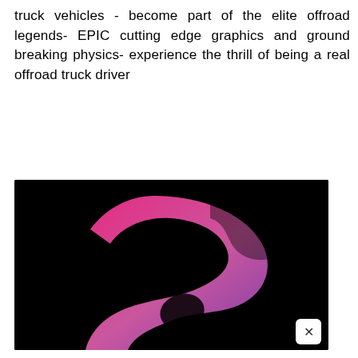truck vehicles - become part of the elite offroad legends- EPIC cutting edge graphics and ground breaking physics- experience the thrill of being a real offroad truck driver
[Figure (logo): Dark background with a large stylized letter S rendered in a gradient from purple at the bottom to pink-red at the top right, with a rounded modern design. A small white rounded rectangle with an X close button appears in the bottom right corner of the image.]